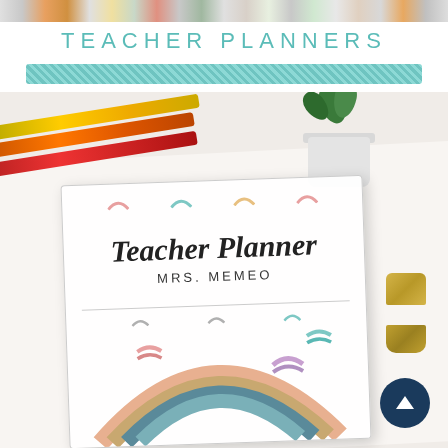[Figure (photo): Horizontal strip of colorful thumbnail images / icons at the very top of the page]
TEACHER PLANNERS
[Figure (illustration): Teal/turquoise decorative crosshatch patterned banner bar]
[Figure (photo): Photo of a Teacher Planner binder with rainbow decorations, reading 'Teacher Planner MRS. MEMEO', surrounded by colored pencils/markers, a succulent plant, and a gold stapler on a white surface. A dark navy scroll-to-top button with an upward arrow is in the lower right corner.]